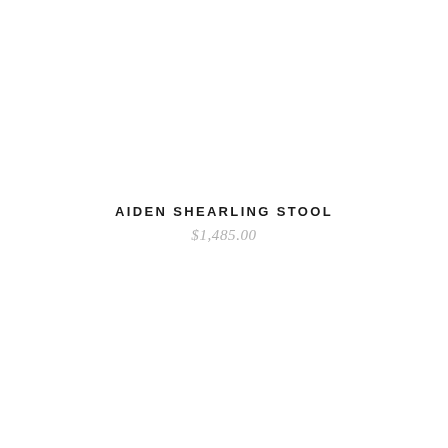AIDEN SHEARLING STOOL
$1,485.00